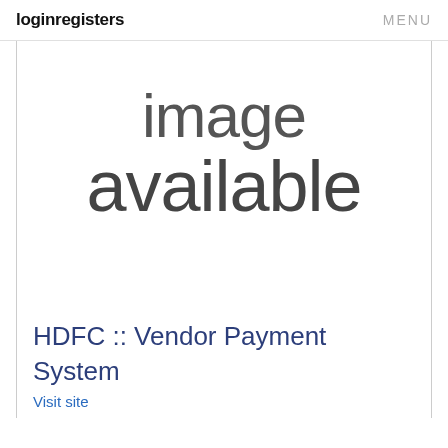loginregisters   MENU
[Figure (other): Placeholder image with text 'Image available' shown in large grey sans-serif font, inside a bordered content area]
HDFC :: Vendor Payment System
Visit site